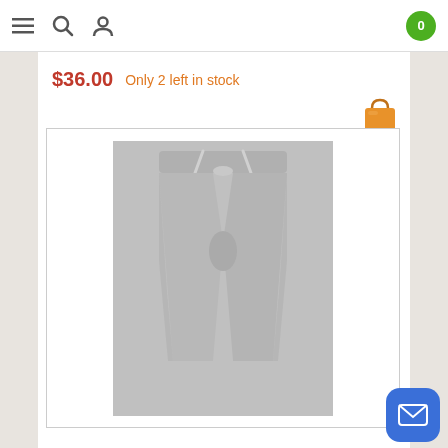Navigation bar with menu, search, profile icons and cart badge showing 0
$36.00  Only 2 left in stock
[Figure (photo): Gray sweatpants/jogger pants with drawstring waist, displayed flat against a gray background]
[Figure (other): Blue rounded square button with white mail/envelope icon]